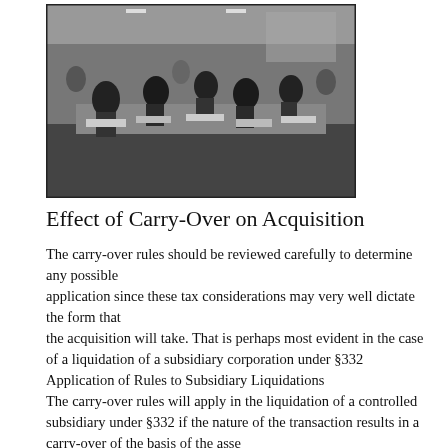[Figure (photo): Black and white photograph of a busy office scene with many workers seated at desks, working with papers and equipment in a large open room.]
Effect of Carry-Over on Acquisition
The carry-over rules should be reviewed carefully to determine any possible application since these tax considerations may very well dictate the form that the acquisition will take. That is perhaps most evident in the case of a liquidation of a subsidiary corporation under §332 Application of Rules to Subsidiary Liquidations The carry-over rules will apply in the liquidation of a controlled subsidiary under §332 if the nature of the transaction results in a carry-over of the basis of the assets transferred to the parent corporation. However, if the basis of